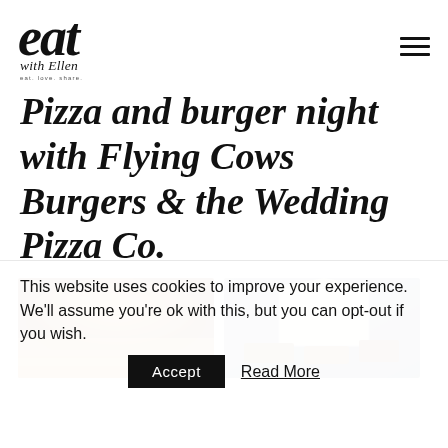eat with Ellen — eat. love. share.
Pizza and burger night with Flying Cows Burgers & the Wedding Pizza Co.
[Figure (photo): Close-up photo of a burger with a shiny golden-brown bun]
[Figure (photo): Photo of a white cardboard takeaway box open with small food items inside]
This website uses cookies to improve your experience. We'll assume you're ok with this, but you can opt-out if you wish.
Accept   Read More